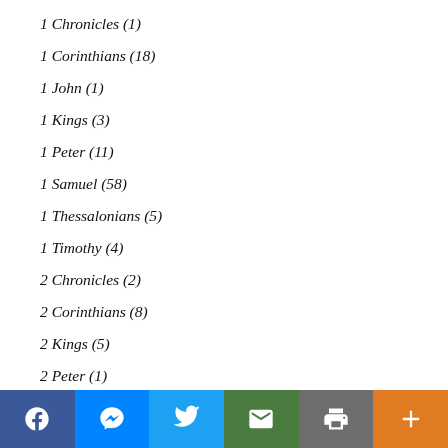1 Chronicles (1)
1 Corinthians (18)
1 John (1)
1 Kings (3)
1 Peter (11)
1 Samuel (58)
1 Thessalonians (5)
1 Timothy (4)
2 Chronicles (2)
2 Corinthians (8)
2 Kings (5)
2 Peter (1)
2 Samuel (40)
2 Timothy (3)
Acts (87)
Amos (1)